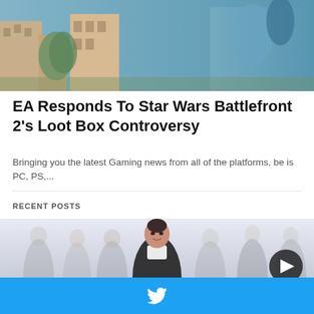[Figure (photo): Game screenshot showing a cityscape with characters and colorful background]
EA Responds To Star Wars Battlefront 2's Loot Box Controversy
Bringing you the latest Gaming news from all of the platforms, be is PC, PS,...
RECENT POSTS
[Figure (photo): Group of business professionals with a woman in the foreground smiling, others blurred in background. A play button overlay is visible.]
[Figure (logo): Twitter bird icon on blue bar at bottom of page]